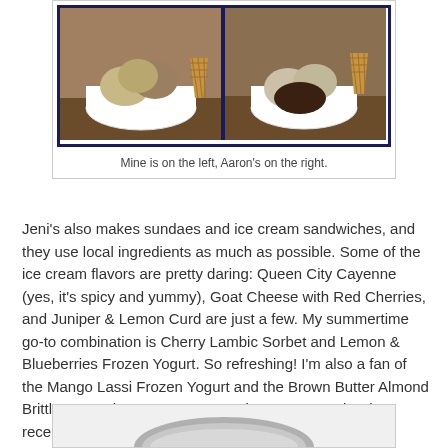[Figure (photo): Two white bowls of ice cream with waffle cone pieces. Left bowl has lighter colored scoops, right bowl has darker chocolate scoops.]
Mine is on the left, Aaron's on the right.
Jeni's also makes sundaes and ice cream sandwiches, and they use local ingredients as much as possible. Some of the ice cream flavors are pretty daring: Queen City Cayenne (yes, it's spicy and yummy), Goat Cheese with Red Cherries, and Juniper & Lemon Curd are just a few. My summertime go-to combination is Cherry Lambic Sorbet and Lemon & Blueberries Frozen Yogurt. So refreshing! I'm also a fan of the Mango Lassi Frozen Yogurt and the Brown Butter Almond Brittle. Dammit, now I want some ice cream! Jeni's also recently started selling this:
[Figure (photo): Partial view of a tin container (bottom of page, cropped).]